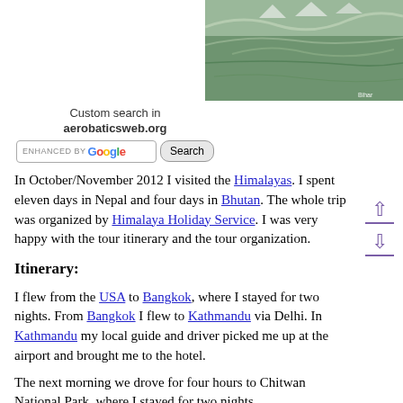[Figure (photo): Satellite/aerial map image of the Himalayas region including Nepal, Bhutan and surrounding areas, shown in the top-right corner of the page.]
Custom search in
aerobaticsweb.org
[Figure (screenshot): Google custom search bar with 'ENHANCED BY Google' input field and 'Search' button.]
In October/November 2012 I visited the Himalayas. I spent eleven days in Nepal and four days in Bhutan. The whole trip was organized by Himalaya Holiday Service. I was very happy with the tour itinerary and the tour organization.
Itinerary:
I flew from the USA to Bangkok, where I stayed for two nights. From Bangkok I flew to Kathmandu via Delhi. In Kathmandu my local guide and driver picked me up at the airport and brought me to the hotel.
The next morning we drove for four hours to Chitwan National Park, where I stayed for two nights.
After arriving wealled into the early Beni, this all...